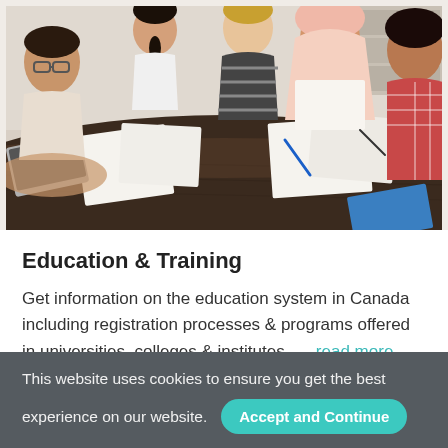[Figure (photo): Group of diverse students studying together around a dark wooden table, with books, papers and laptops, smiling and collaborating.]
Education & Training
Get information on the education system in Canada including registration processes & programs offered in universities, colleges & institutes. … read more
This website uses cookies to ensure you get the best experience on our website. Accept and Continue